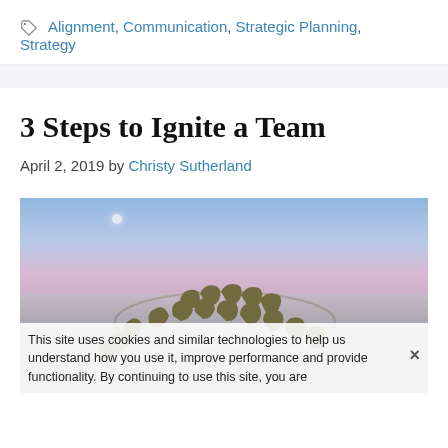Alignment, Communication, Strategic Planning, Strategy
3 Steps to Ignite a Team
April 2, 2019 by Christy Sutherland
[Figure (photo): Photo of skydivers forming a circle against a dusk/blue-purple sky with a moon visible, over a snowy or foggy landscape]
This site uses cookies and similar technologies to help us understand how you use it, improve performance and provide functionality. By continuing to use this site, you are